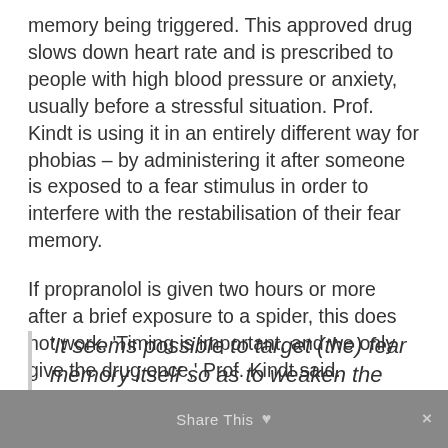memory being triggered. This approved drug slows down heart rate and is prescribed to people with high blood pressure or anxiety, usually before a stressful situation. Prof. Kindt is using it in an entirely different way for phobias – by administering it after someone is exposed to a fear stimulus in order to interfere with the restabilisation of their fear memory.
If propranolol is given two hours or more after a brief exposure to a spider, this does not work. 'Timing is important, and we only give the drug once,' Prof. Kindt said.
'It seems possible to target (the) fear memory itself so as to weaken the
Share This ×